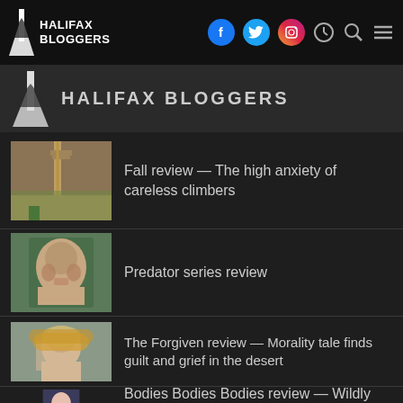HALIFAX BLOGGERS
HALIFAX BLOGGERS
Fall review — The high anxiety of careless climbers
Predator series review
The Forgiven review — Morality tale finds guilt and grief in the desert
Bodies Bodies Bodies review — Wildly fun